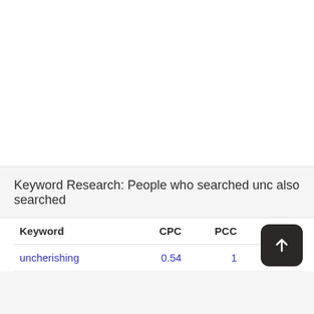Keyword Research: People who searched unc also searched
| Keyword | CPC | PCC |  |
| --- | --- | --- | --- |
| uncherishing | 0.54 | 1 | 8326 |